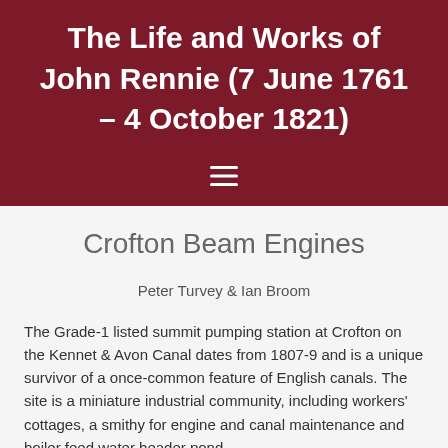The Life and Works of John Rennie (7 June 1761 – 4 October 1821)
[Figure (other): Hamburger menu icon (three horizontal white lines) on dark red background]
Crofton Beam Engines
Peter Turvey & Ian Broom
The Grade-1 listed summit pumping station at Crofton on the Kennet & Avon Canal dates from 1807-9 and is a unique survivor of a once-common feature of English canals. The site is a miniature industrial community, including workers' cottages, a smithy for engine and canal maintenance and boiler feed water header pond.